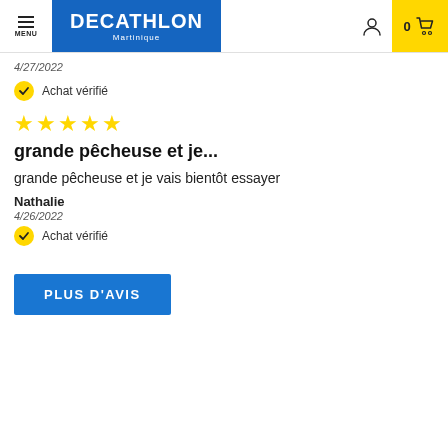DECATHLON Martinique - Menu, user icon, cart 0
4/27/2022
✓ Achat vérifié
★★★★★
grande pêcheuse et je...
grande pêcheuse et je vais bientôt essayer
Nathalie
4/26/2022
✓ Achat vérifié
PLUS D'AVIS